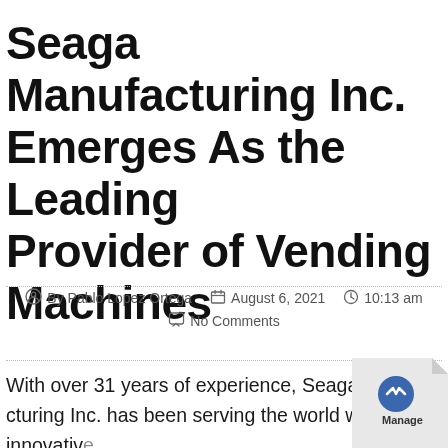Seaga Manufacturing Inc. Emerges As the Leading Provider of Vending Machines
By Pablo Lopez Ortega  August 6, 2021  10:13 am  No Comments
With over 31 years of experience, Seaga Manufacturing Inc. has been serving the world with innovative driven space-efficient designs that inspire sal